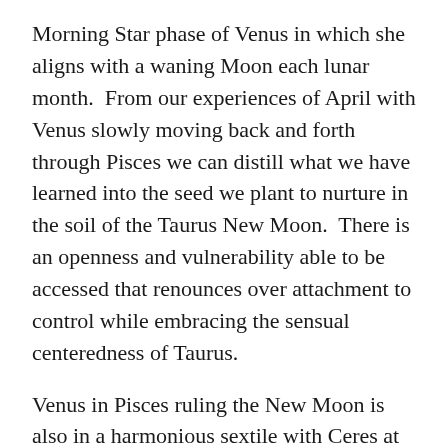Morning Star phase of Venus in which she aligns with a waning Moon each lunar month. From our experiences of April with Venus slowly moving back and forth through Pisces we can distill what we have learned into the seed we plant to nurture in the soil of the Taurus New Moon. There is an openness and vulnerability able to be accessed that renounces over attachment to control while embracing the sensual centeredness of Taurus.
Venus in Pisces ruling the New Moon is also in a harmonious sextile with Ceres at the end of Taurus, providing another symbol of drawing from within to manifest greater abundance and sensuousness in the world. In the days following the New Moon both Venus and